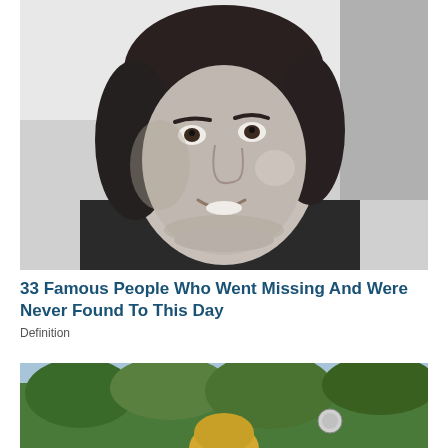[Figure (photo): Black and white close-up portrait of a young person with dark medium-length hair, smiling slightly, wearing a dark jacket.]
33 Famous People Who Went Missing And Were Never Found To This Day
Definition
[Figure (photo): Partial color photo showing a person with blonde hair outdoors with green trees in background.]